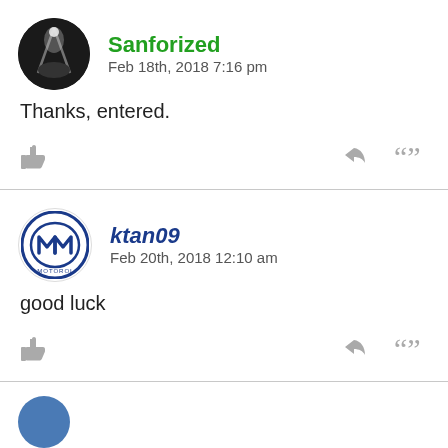Sanforized
Feb 18th, 2018 7:16 pm
Thanks, entered.
ktan09
Feb 20th, 2018 12:10 am
good luck